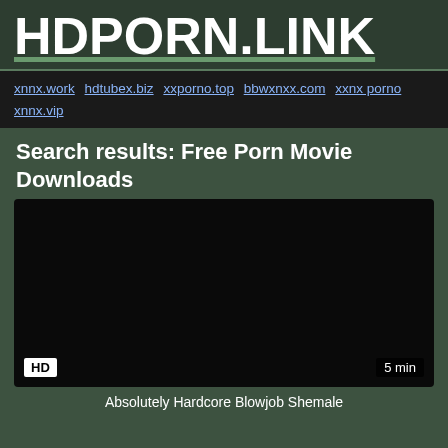HDPORN.LINK
xnnx.work hdtubex.biz xxporno.top bbwxnxx.com xxnx porno xnnx.vip
Search results: Free Porn Movie Downloads
[Figure (screenshot): Dark black video thumbnail with HD badge at bottom left and 5 min duration badge at bottom right]
Absolutely Hardcore Blowjob Shemale